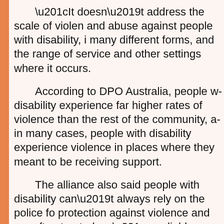“It doesn’t address the scale of violence and abuse against people with disability, in many different forms, and the range of service and other settings where it occurs.
According to DPO Australia, people with disability experience far higher rates of violence than the rest of the community, and in many cases, people with disability experience violence in places where they are meant to be receiving support.
The alliance also said people with disability can’t always rely on the police for protection against violence and are often treated as “unreliable witnesses” or are not permitted by law to provide testimony.
Women With Disabilities Australia CEO Carolyn Frohmader said only a royal